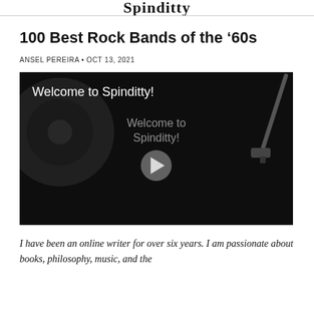Spinditty
100 Best Rock Bands of the ’60s
ANSEL PEREIRA • OCT 13, 2021
[Figure (screenshot): Video thumbnail with dark background showing a vinyl record and tonearm. Text reads 'Welcome to Spinditty!' in the top-left. Center shows a play button over the text 'Welcome to Spinditty!']
I have been an online writer for over six years. I am passionate about books, philosophy, music, and the